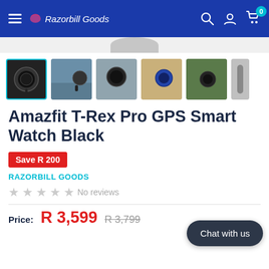Razorbill Goods
[Figure (photo): Product thumbnail images of Amazfit T-Rex Pro GPS Smart Watch Black from multiple angles]
Amazfit T-Rex Pro GPS Smart Watch Black
Save R 200
RAZORBILL GOODS
No reviews
Price: R 3,599  R 3,799